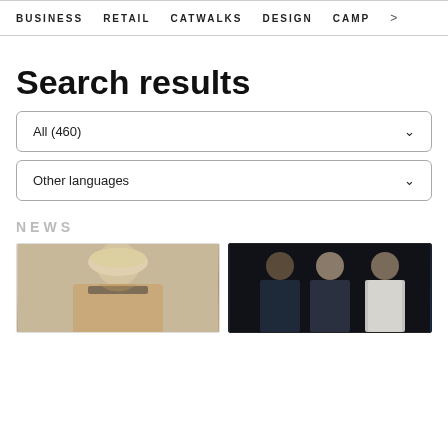BUSINESS   RETAIL   CATWALKS   DESIGN   CAMP >
Search results
All (460)
Other languages
NEWS
[Figure (photo): Woman with long blonde hair wearing a beige/camel outfit with dark trim at the neckline]
[Figure (photo): Three men in dark suits/jackets standing against a black background]